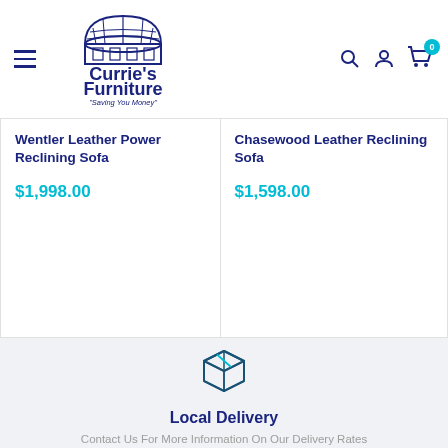Currie's Furniture - "Saving You Money"
Wentler Leather Power Reclining Sofa
$1,998.00
Chasewood Leather Reclining Sofa
$1,598.00
[Figure (illustration): Box/package delivery icon in teal/blue outline style]
Local Delivery
Contact Us For More Information On Our Delivery Rates